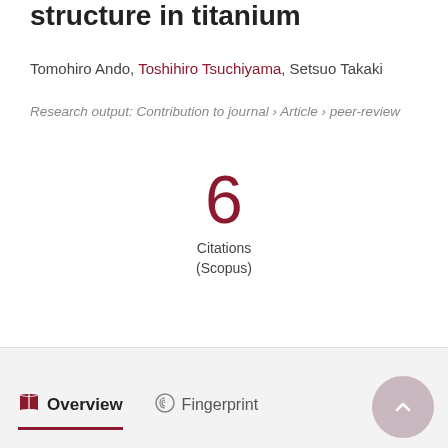structure in titanium
Tomohiro Ando, Toshihiro Tsuchiyama, Setsuo Takaki
Research output: Contribution to journal › Article › peer-review
6 Citations (Scopus)
Overview  Fingerprint